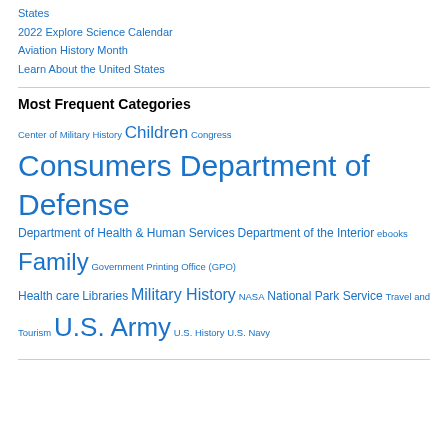States
2022 Explore Science Calendar
Aviation History Month
Learn About the United States
Most Frequent Categories
Center of Military History Children Congress Consumers Department of Defense Department of Health & Human Services Department of the Interior ebooks Family Government Printing Office (GPO) Health care Libraries Military History NASA National Park Service Travel and Tourism U.S. Army U.S. History U.S. Navy